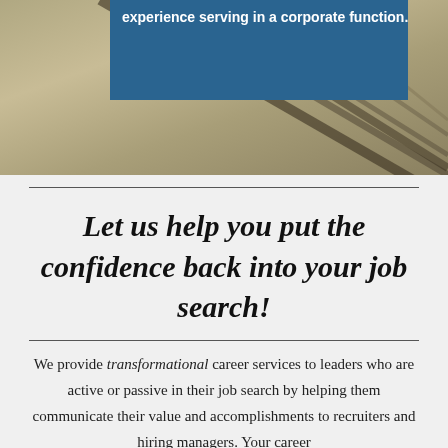[Figure (photo): Architectural photo showing diagonal lines/slats in beige/tan tones with dark stripes, partially overlaid by a dark blue rectangle containing white bold text.]
experience serving in a corporate function.
Let us help you put the confidence back into your job search!
We provide transformational career services to leaders who are active or passive in their job search by helping them communicate their value and accomplishments to recruiters and hiring managers. Your career